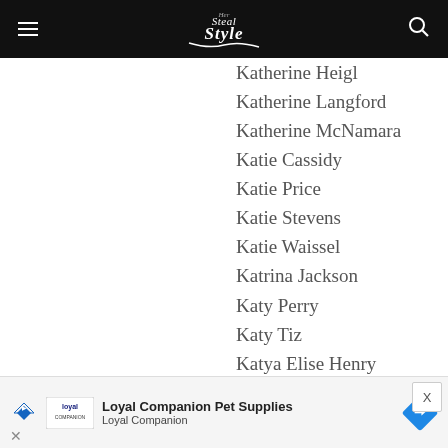Steal Her Style
Katherine Heigl
Katherine Langford
Katherine McNamara
Katie Cassidy
Katie Price
Katie Stevens
Katie Waissel
Katrina Jackson
Katy Perry
Katy Tiz
Katya Elise Henry
Kay Cola
Kay Goldilocks
Kaya Jones
Kaya Scodelario
Kaya Stewart
Kayla Maisonet
Kehlani
Keira Knightley
[Figure (screenshot): Advertisement banner for Loyal Companion Pet Supplies with logo, text and diamond-shaped icon]